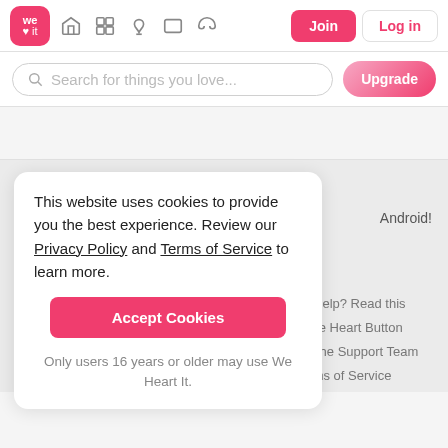We Heart It navigation bar with logo, icons, Join and Log in buttons
Search for things you love...
Upgrade
This website uses cookies to provide you the best experience. Review our Privacy Policy and Terms of Service to learn more.
Accept Cookies
Only users 16 years or older may use We Heart It.
Android!
Need help? Read this
Get the Heart Button
Contact the Support Team
Terms of Service